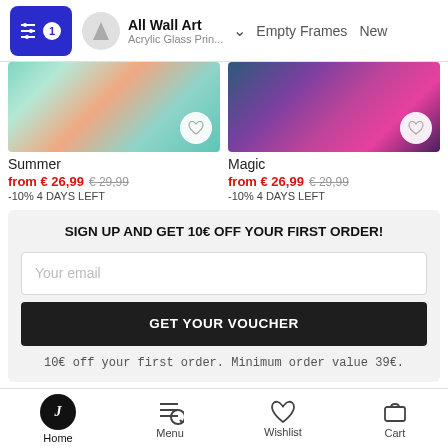All Wall Art — Acrylic Glass Prin... — Empty Frames — New
[Figure (photo): Product image for Summer wall art — colorful abstract with teal and orange tones]
Summer
from € 26,99  € 29,99
-10% 4 DAYS LEFT
[Figure (photo): Product image for Magic wall art — abstract with purple, pink, and dark blue tones]
Magic
from € 26,99  € 29,99
-10% 4 DAYS LEFT
SIGN UP AND GET 10€ OFF YOUR FIRST ORDER!
Your email
GET YOUR VOUCHER
10€ off your first order. Minimum order value 39€.
Home  Menu  Wishlist  Cart